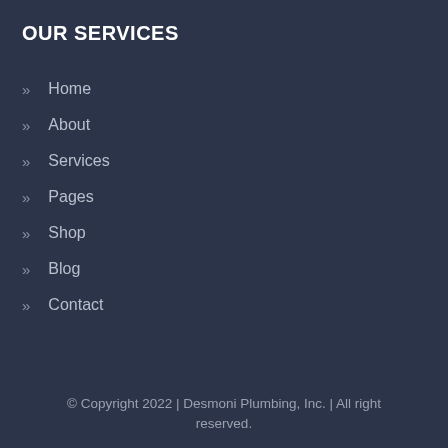OUR SERVICES
Home
About
Services
Pages
Shop
Blog
Contact
© Copyright 2022 | Desmoni Plumbing, Inc. | All right reserved.